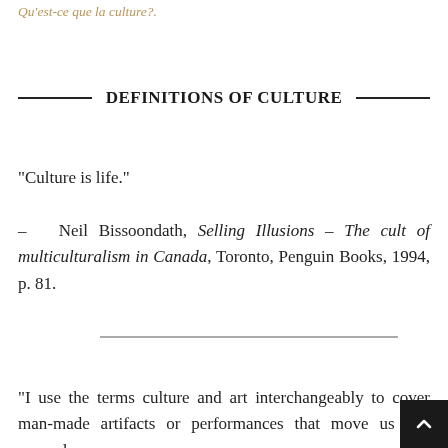Qu'est-ce que la culture?.
DEFINITIONS OF CULTURE
“Culture is life.”
– Neil Bissoondath, Selling Illusions – The cult of multiculturalism in Canada, Toronto, Penguin Books, 1994, p. 81.
“I use the terms culture and art interchangeably to cover man-made artifacts or performances that move us and expand…